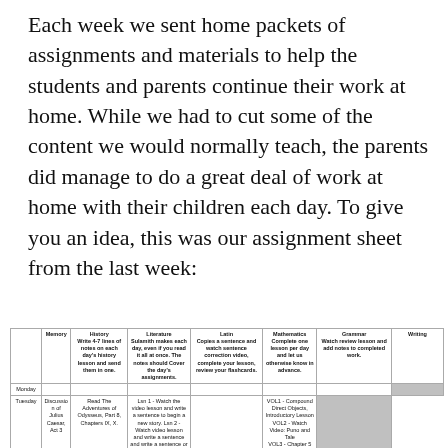Each week we sent home packets of assignments and materials to help the students and parents continue their work at home. While we had to cut some of the content we would normally teach, the parents did manage to do a great deal of work at home with their children each day. To give you an idea, this was our assignment sheet from the last week:
|  | Memory | History
Write 4-7 lines of notes on each day's history lesson and send them in one. | Literature
Sulamith makes each day, even if you read it all at once. The notes should Cover the day's assignments. | Latin
Copies a sentence and watch sentence correction video, complete your lesson, review your flashcards. | Mathematics
Complete one lesson per day and let us otherwise know in advance. | Grammar
Watch review lesson and add notes to completed work. | Writing |
| --- | --- | --- | --- | --- | --- | --- | --- |
| Monday |  |  |  |  |  |  |  |
| Tuesday | Discussion of Julius Caesar, Act 3 | Read The Adventures of Odysseus, Part 8, Chapters IX, X. | Lsn 1 - Watch the video lesson and write a sentence to begin a new story. Lsn 2 - Watch video lesson and write a sentence or two. |  | VOL1 - Compound Direct Objects, Introductory Lesson
VOL2 - Watch Video: Puno and Tale
VOL3 - Chapter 5 Lesson for Polices |  |
| Tuesday | Read Julius Caesar, Act 4 | Read The Adventures of Odysseus, Part 8, Chapters IX, X. | Lsn 1 - Watch the video lesson and write a sentence to continue the story. Lsn 2 - The take the first paragraph of the story. It will be emailed out. |  | VOL1 – Compound Direct Objects, Lesson 4. | Write a story sequence plaint for the story of Polyphemus |
|  |  | Read The Adventures of | Lsn 1 - Watch the video lesson and |  | VOL1 – Compound Direct Objects, |  |